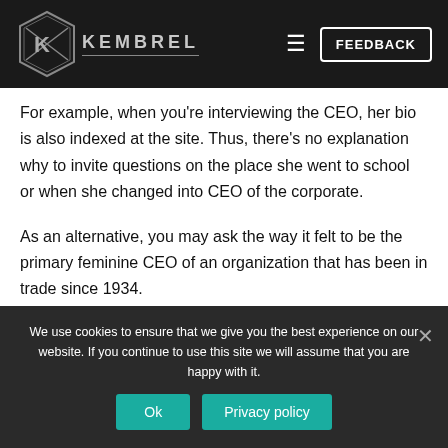KEMBREL | FEEDBACK
For example, when you're interviewing the CEO, her bio is also indexed at the site. Thus, there's no explanation why to invite questions on the place she went to school or when she changed into CEO of the corporate.
As an alternative, you may ask the way it felt to be the primary feminine CEO of an organization that has been in trade since 1934.
We use cookies to ensure that we give you the best experience on our website. If you continue to use this site we will assume that you are happy with it.
Ok  Privacy policy